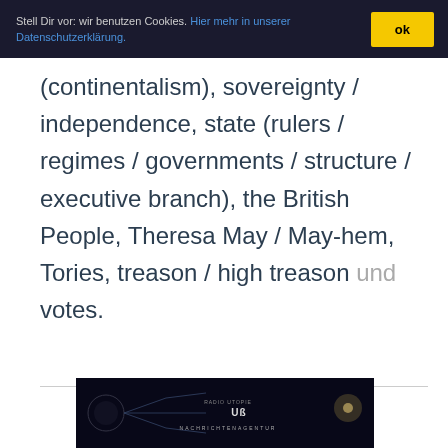Stell Dir vor: wir benutzen Cookies. Hier mehr in unserer Datenschutzerklärung. ok
(continentalism), sovereignty / independence, state (rulers / regimes / governments / structure / executive branch), the British People, Theresa May / May-hem, Tories, treason / high treason und votes.
[Figure (photo): Dark image with network/line graphics and text reading RADIO UTOPIE NACHRICHTENAGENTUR]